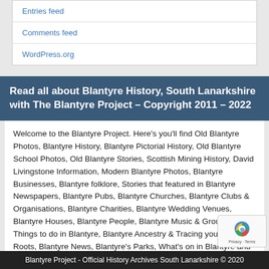Entries feed
Comments feed
WordPress.org
Read all about Blantyre History, South Lanarkshire with The Blantyre Project – Copyright 2011 – 2022
Welcome to the Blantyre Project. Here's you'll find Old Blantyre Photos, Blantyre History, Blantyre Pictorial History, Old Blantyre School Photos, Old Blantyre Stories, Scottish Mining History, David Livingstone Information, Modern Blantyre Photos, Blantyre Businesses, Blantyre folklore, Stories that featured in Blantyre Newspapers, Blantyre Pubs, Blantyre Churches, Blantyre Clubs & Organisations, Blantyre Charities, Blantyre Wedding Venues, Blantyre Houses, Blantyre People, Blantyre Music & Groups, Things to do in Blantyre, Blantyre Ancestry & Tracing your Blantyre Roots, Blantyre News, Blantyre's Parks, What's on in Blantyre and much more!
Blantyre Project - Official History Archives South Lanarkshire © 2020